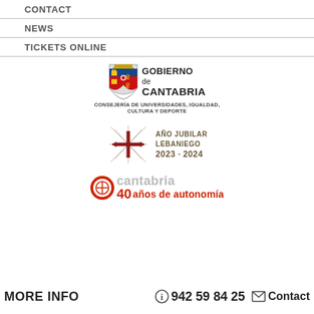CONTACT
NEWS
TICKETS ONLINE
[Figure (logo): Gobierno de Cantabria logo with coat of arms and text: GOBIERNO de CANTABRIA, CONSEJERÍA DE UNIVERSIDADES, IGUALDAD, CULTURA Y DEPORTE]
[Figure (logo): Año Jubilar Lebaniego 2023·2024 logo with decorative cross]
[Figure (logo): 40 años de autonomía cantabria logo with red circular emblem]
MORE INFO  ⓘ 942 59 84 25  ✉ Contact